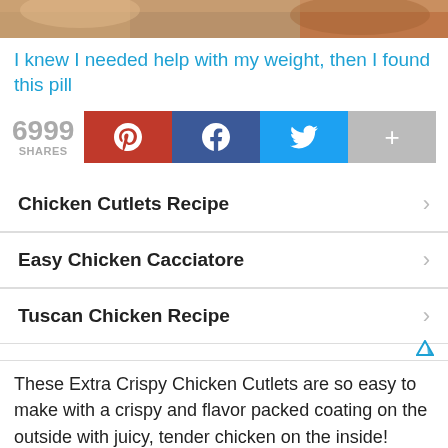[Figure (photo): Top portion of a food photo showing crispy chicken cutlets, cropped at the top of the page]
I knew I needed help with my weight, then I found this pill
6999 SHARES
Chicken Cutlets Recipe
Easy Chicken Cacciatore
Tuscan Chicken Recipe
These Extra Crispy Chicken Cutlets are so easy to make with a crispy and flavor packed coating on the outside with juicy, tender chicken on the inside! Enjoy them on their own, on a sandwich, or sliced on a salad, or pasta!